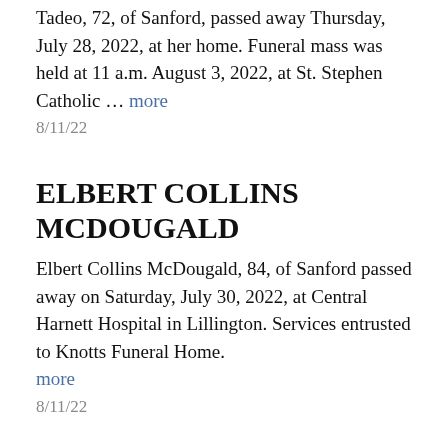Tadeo, 72, of Sanford, passed away Thursday, July 28, 2022, at her home. Funeral mass was held at 11 a.m. August 3, 2022, at St. Stephen Catholic ... more
8/11/22
ELBERT COLLINS MCDOUGALD
Elbert Collins McDougald, 84, of Sanford passed away on Saturday, July 30, 2022, at Central Harnett Hospital in Lillington. Services entrusted to Knotts Funeral Home. more
8/11/22